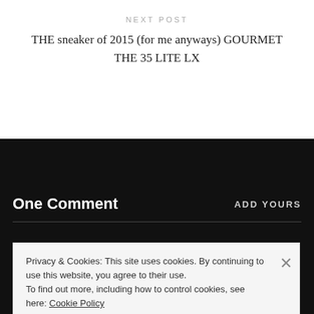NEXT POST
THE sneaker of 2015 (for me anyways) GOURMET THE 35 LITE LX
One Comment
ADD YOURS
Privacy & Cookies: This site uses cookies. By continuing to use this website, you agree to their use.
To find out more, including how to control cookies, see here: Cookie Policy
Close and accept